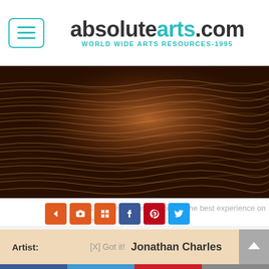absolutearts.com WORLD WIDE ARTS RESOURCES-1995
[Figure (photo): Close-up photograph of wavy wood grain texture in dark warm brown tones with lighter rippling line patterns, partially illuminated from one side.]
This website uses cookies to ensure you get the best experience on our website.
Learn more
Artist:
[X] Got it!
Jonathan Charles
Facebook  Twitter  Pinterest  Mail